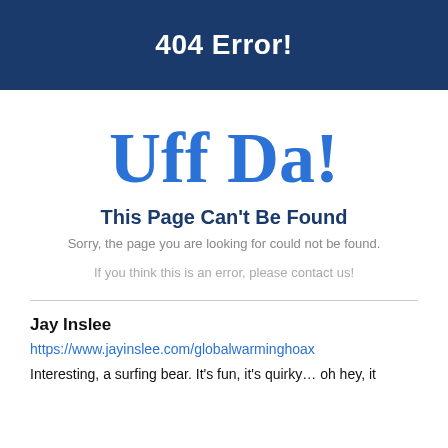404 Error!
Uff Da!
This Page Can't Be Found
Sorry, the page you are looking for could not be found.
If you think this is an error, please contact us!
Jay Inslee
https://www.jayinslee.com/globalwarminghoax
Interesting, a surfing bear. It's fun, it's quirky… oh hey, it